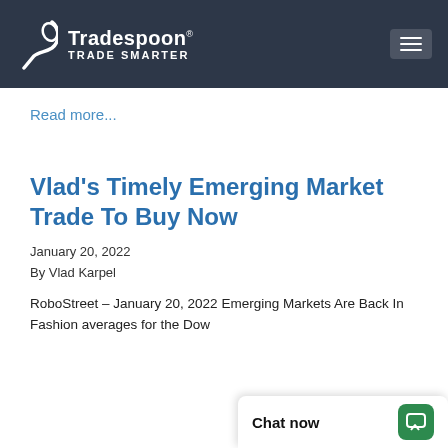Tradespoon® TRADE SMARTER
Read more...
Vlad's Timely Emerging Market Trade To Buy Now
January 20, 2022
By Vlad Karpel
RoboStreet – January 20, 2022 Emerging Markets Are Back In Fashion averages for the Dow ...